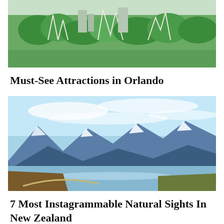[Figure (photo): Aerial view of Orlando theme park with roller coasters, green trees, and city skyline in the background]
Must-See Attractions in Orlando
[Figure (photo): Scenic landscape of New Zealand showing snow-capped mountains, a calm lake, and autumn-colored terrain under a blue sky with wispy clouds]
7 Most Instagrammable Natural Sights In New Zealand
[Figure (photo): Partially visible image at the bottom of the page, blurred/cropped]